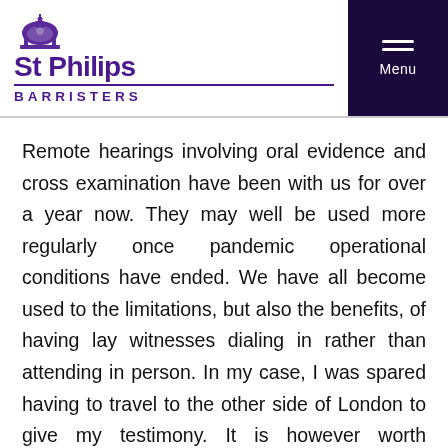[Figure (logo): St Philips Barristers logo with dome icon, purple text and underline]
Remote hearings involving oral evidence and cross examination have been with us for over a year now. They may well be used more regularly once pandemic operational conditions have ended. We have all become used to the limitations, but also the benefits, of having lay witnesses dialing in rather than attending in person. In my case, I was spared having to travel to the other side of London to give my testimony. It is however worth spending that extra bit of time, after finalising the trial bundle and when delivering it to the witnesses, to prepare them properly in practical terms for the hearing. This will give the advocate a note of advice to...